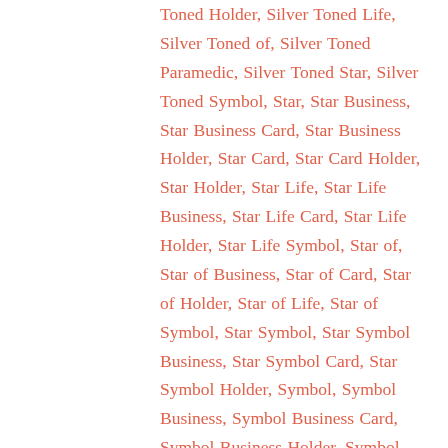Toned Holder, Silver Toned Life, Silver Toned of, Silver Toned Paramedic, Silver Toned Star, Silver Toned Symbol, Star, Star Business, Star Business Card, Star Business Holder, Star Card, Star Card Holder, Star Holder, Star Life, Star Life Business, Star Life Card, Star Life Holder, Star Life Symbol, Star of, Star of Business, Star of Card, Star of Holder, Star of Life, Star of Symbol, Star Symbol, Star Symbol Business, Star Symbol Card, Star Symbol Holder, Symbol, Symbol Business, Symbol Business Card, Symbol Business Holder, Symbol Card, Symbol Card Holder, Symbol Holder, Toned, Toned Business, Toned Business Card, Toned Business Holder, Toned Card, Toned Card Holder, Toned Etched, Toned Etched Business, Toned Etched Card, Toned Etched Holder, Toned Etched Life, Toned Etched of, Toned Etched Paramedic, Toned Etched Star,